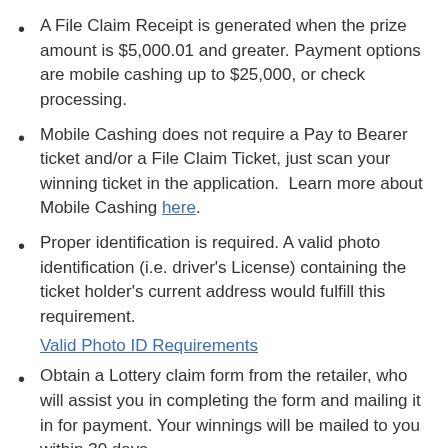A File Claim Receipt is generated when the prize amount is $5,000.01 and greater. Payment options are mobile cashing up to $25,000, or check processing.
Mobile Cashing does not require a Pay to Bearer ticket and/or a File Claim Ticket, just scan your winning ticket in the application.  Learn more about Mobile Cashing here.
Proper identification is required. A valid photo identification (i.e. driver's License) containing the ticket holder's current address would fulfill this requirement.
Valid Photo ID Requirements
Obtain a Lottery claim form from the retailer, who will assist you in completing the form and mailing it in for payment. Your winnings will be mailed to you within 30 days.